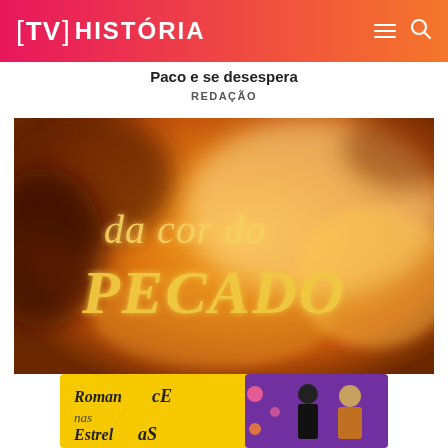[TV] HISTÓRIA
Paco e se desespera
REDAÇÃO
[Figure (photo): Title card of Brazilian telenovela 'da cor do pecado' — warm orange/amber bokeh background with stylized golden serif text reading 'da cor do PECADO']
[Figure (illustration): Advertisement banner for 'Romance nas Estrelas' showing two women posing on a yellow and purple background with stylized text]